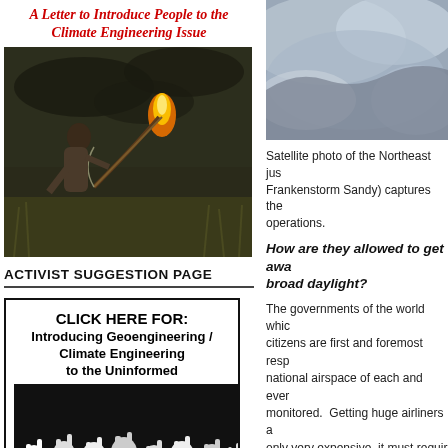A Letter to Introduce People to the Climate Engineering Issue
[Figure (photo): Man drawing a flaming bow and arrow in a dramatic outdoor scene with dark sky and tall grass]
ACTIVIST SUGGESTION PAGE
[Figure (illustration): Click Here For: Introducing Geoengineering / Climate Engineering to the Uninformed — black and white illustration of crowd with raised fists]
[Figure (photo): Satellite photo of the Northeast just before Frankenstorm Sandy, showing cloud operations]
Satellite photo of the Northeast just before Frankenstorm Sandy) captures the operations.
How are they allowed to get away with this in broad daylight?
The governments of the world which citizens are first and foremost responsible for the national airspace of each and every country are monitored. Getting huge airliners and only very expensive, it must require an assortment of federal and state of governmental institutions which making process.
As a matter of fact,